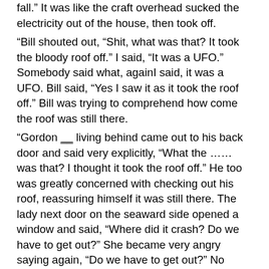fall.”  It was like the craft overhead sucked the electricity out of the house, then took off.
“Bill shouted out, “Shit, what was that?  It took the bloody roof off.”  I said, “It was a UFO.”  Somebody said what, againI said, it was a UFO.  Bill said, “Yes I saw it as it took the roof off.”  Bill was trying to comprehend how come the roof was still there.
“Gordon __ living behind came out to his back door and said very explicitly, “What the …… was that?  I thought it took the roof off.”  He too was greatly concerned with checking out his roof, reassuring himself it was still there. The lady next door on the seaward side opened a window and said, “Where did it crash?  Do we have to get out?”  She became very angry saying again, “Do we have to get out?”  No you’re safe.  It’s gone.  Relieved, she said, “I am alone with the children tonight, that bloody pilot should be